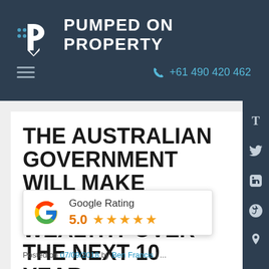PUMPED ON PROPERTY
+61 490 420 462
THE AUSTRALIAN GOVERNMENT WILL MAKE INVESTORS WEALTHY OVER THE NEXT 10 YEARS
[Figure (logo): Google Rating badge showing 5.0 stars with Google G logo]
Posted on 07/09/2018 by Ben Francis | ...